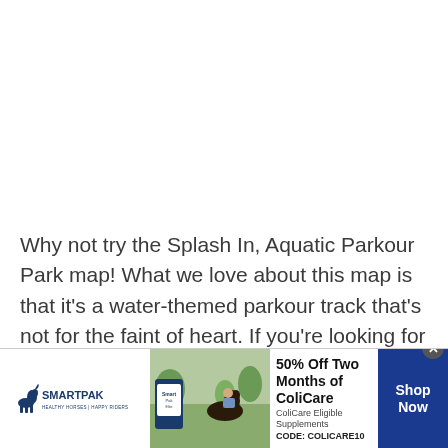Why not try the Splash In, Aquatic Parkour Park map! What we love about this map is that it's a water-themed parkour track that's not for the faint of heart. If you're looking for a relaxing park, this isn't for you!
[Figure (infographic): SmartPak advertisement banner with logo, product image, horse and rider photo, promotional text '50% Off Two Months of ColiCare', 'ColiCare Eligible Supplements', 'CODE: COLICARE10', and a blue 'Shop Now' button]